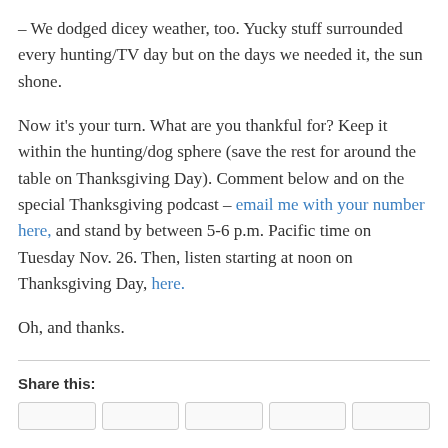– We dodged dicey weather, too. Yucky stuff surrounded every hunting/TV day but on the days we needed it, the sun shone.
Now it's your turn. What are you thankful for? Keep it within the hunting/dog sphere (save the rest for around the table on Thanksgiving Day). Comment below and on the special Thanksgiving podcast – email me with your number here, and stand by between 5-6 p.m. Pacific time on Tuesday Nov. 26. Then, listen starting at noon on Thanksgiving Day, here.
Oh, and thanks.
Share this: